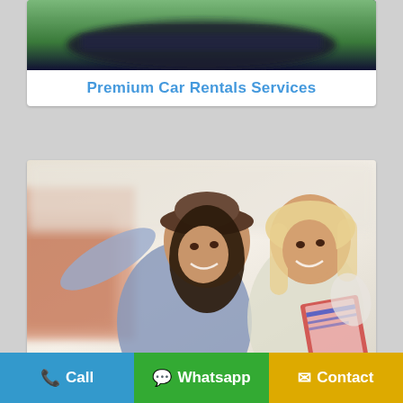[Figure (photo): Blurred top of a car or road with green/dark background — partial car image]
Premium Car Rentals Services
[Figure (photo): Two smiling young women outdoors, one with dark hair raising her arm hailing, wearing denim jacket; the other blonde holding a book/brochure. Urban background.]
Call
Whatsapp
Contact